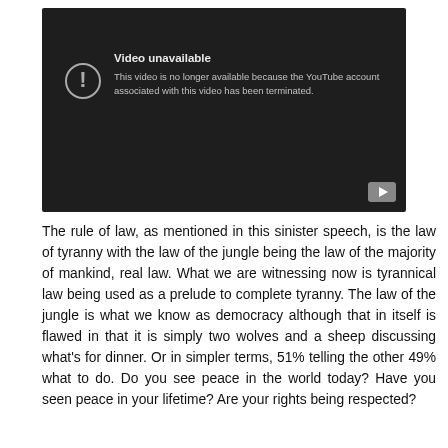[Figure (screenshot): YouTube video unavailable error screen with dark background. Shows exclamation mark icon, title 'Video unavailable', message 'This video is no longer available because the YouTube account associated with this video has been terminated.' A YouTube play button icon appears in the bottom right corner.]
The rule of law, as mentioned in this sinister speech, is the law of tyranny with the law of the jungle being the law of the majority of mankind, real law. What we are witnessing now is tyrannical law being used as a prelude to complete tyranny. The law of the jungle is what we know as democracy although that in itself is flawed in that it is simply two wolves and a sheep discussing what's for dinner. Or in simpler terms, 51% telling the other 49% what to do. Do you see peace in the world today? Have you seen peace in your lifetime? Are your rights being respected?